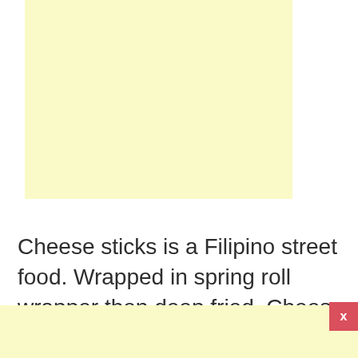[Figure (other): Light yellow advertisement or placeholder box at top of page]
Cheese sticks is a Filipino street food. Wrapped in spring roll wrapper then deep fried. Cheese sticks may be served with tomato, ketchup, or marinara
[Figure (other): Light yellow advertisement or placeholder box at bottom of page with red close button labeled x]